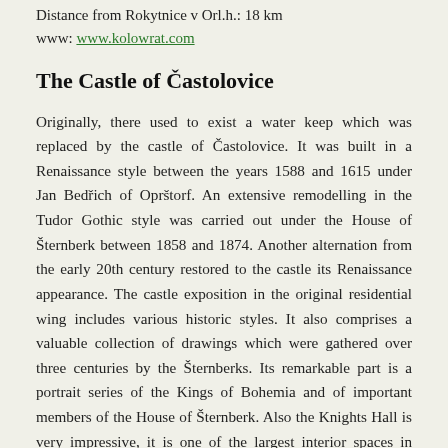Distance from Rokytnice v Orl.h.: 18 km
www: www.kolowrat.com
The Castle of Častolovice
Originally, there used to exist a water keep which was replaced by the castle of Častolovice. It was built in a Renaissance style between the years 1588 and 1615 under Jan Bedřich of Oprštorf. An extensive remodelling in the Tudor Gothic style was carried out under the House of Šternberk between 1858 and 1874. Another alternation from the early 20th century restored to the castle its Renaissance appearance. The castle exposition in the original residential wing includes various historic styles. It also comprises a valuable collection of drawings which were gathered over three centuries by the Šternberks. Its remarkable part is a portrait series of the Kings of Bohemia and of important members of the House of Šternberk. Also the Knights Hall is very impressive, it is one of the largest interior spaces in Czech historic houses, it features a coffered renaissance